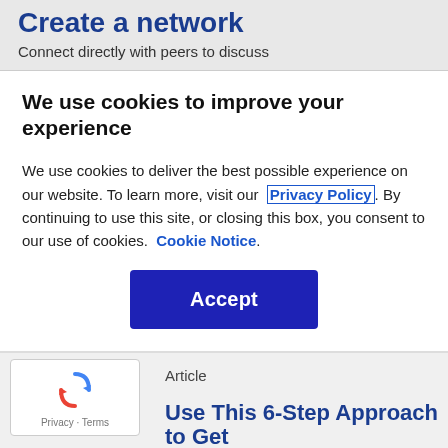Create a network
Connect directly with peers to discuss
We use cookies to improve your experience
We use cookies to deliver the best possible experience on our website. To learn more, visit our  Privacy Policy . By continuing to use this site, or closing this box, you consent to our use of cookies.  Cookie Notice .
Accept
[Figure (logo): reCAPTCHA logo with Google branding]
Privacy · Terms
Article
Use This 6-Step Approach to Get